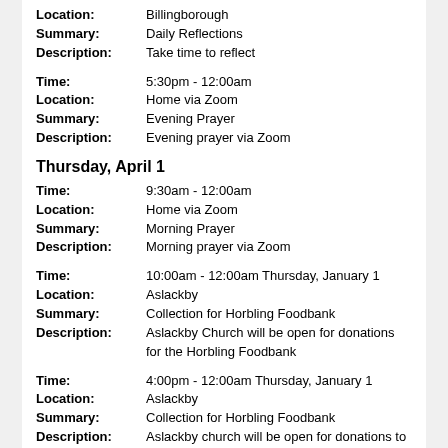Location: Billingborough
Summary: Daily Reflections
Description: Take time to reflect
Time: 5:30pm - 12:00am
Location: Home via Zoom
Summary: Evening Prayer
Description: Evening prayer via Zoom
Thursday, April 1
Time: 9:30am - 12:00am
Location: Home via Zoom
Summary: Morning Prayer
Description: Morning prayer via Zoom
Time: 10:00am - 12:00am Thursday, January 1
Location: Aslackby
Summary: Collection for Horbling Foodbank
Description: Aslackby Church will be open for donations for the Horbling Foodbank
Time: 4:00pm - 12:00am Thursday, January 1
Location: Aslackby
Summary: Collection for Horbling Foodbank
Description: Aslackby church will be open for donations to Horbling foodbank
Time: 5:30pm - 12:00am
Location: Home via Zoom
Summary: Evening Prayer
Description: Evening prayer via Zoom